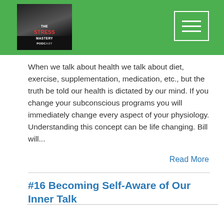The Stress Mastery Podcast header with logo and navigation menu
When we talk about health we talk about diet, exercise, supplementation, medication, etc., but the truth be told our health is dictated by our mind. If you change your subconscious programs you will immediately change every aspect of your physiology. Understanding this concept can be life changing. Bill will...
Read More
#16 Becoming Self-Aware of Our Inner Talk
[Figure (screenshot): Podcast audio player widget for episode #16 Becoming Self-Aware of Our Inner Talk from The Stress Mastery Podcast: Living Right with Bill Corte, showing play button, progress bar, timestamp 00:00:00, and control icons]